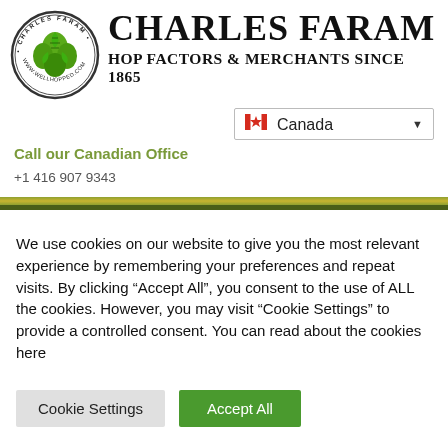[Figure (logo): Charles Faram circular logo with hop cones illustration and text 'CHARLES FARAM • WWW.WELLHOPPED.COM' around the edge]
CHARLES FARAM
HOP FACTORS & MERCHANTS SINCE 1865
[Figure (infographic): Canada country selector dropdown with Canadian flag icon]
Call our Canadian Office
+1 416 907 9343
We use cookies on our website to give you the most relevant experience by remembering your preferences and repeat visits. By clicking “Accept All”, you consent to the use of ALL the cookies. However, you may visit “Cookie Settings” to provide a controlled consent. You can read about the cookies here
Cookie Settings
Accept All